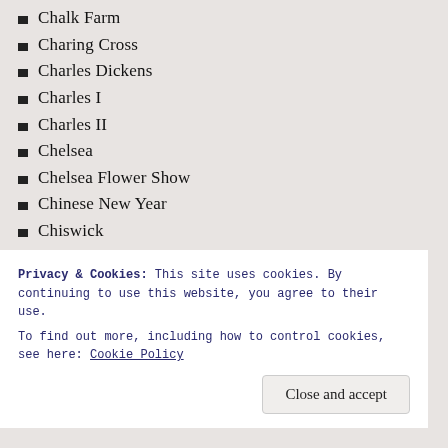Chalk Farm
Charing Cross
Charles Dickens
Charles I
Charles II
Chelsea
Chelsea Flower Show
Chinese New Year
Chiswick
Christmas
Christopher Wren
Churches
City
Civil War
Clapham
Privacy & Cookies: This site uses cookies. By continuing to use this website, you agree to their use. To find out more, including how to control cookies, see here: Cookie Policy
Close and accept